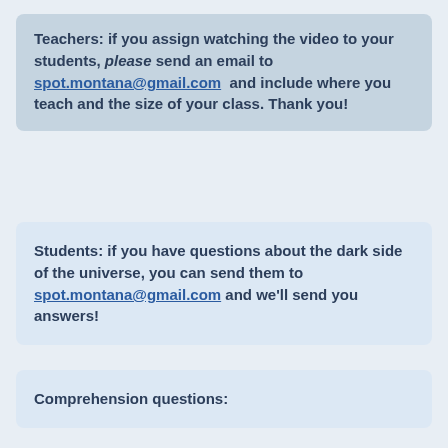Teachers: if you assign watching the video to your students, please send an email to spot.montana@gmail.com and include where you teach and the size of your class. Thank you!
Students: if you have questions about the dark side of the universe, you can send them to spot.montana@gmail.com and we'll send you answers!
Comprehension questions: